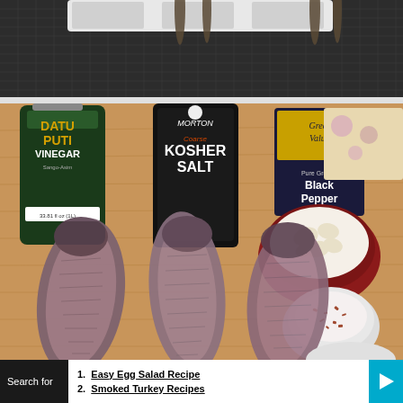[Figure (photo): Top portion of a photo showing what appears to be fish or seafood on a dark woven mat background, partially cropped.]
[Figure (photo): Photo of ingredients on a wooden cutting board: three butterflied fish, a bottle of Datu Puti Vinegar, Morton Coarse Kosher Salt container, Great Value Pure Ground Black Pepper box, a red bowl with minced garlic, and a small white bowl with red chili flakes.]
Search for
1. Easy Egg Salad Recipe
2. Smoked Turkey Recipes